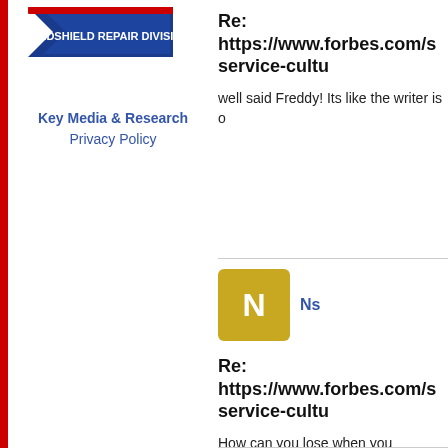[Figure (logo): National Windshield Repair Division logo with blue triangle/arrow shape and banner text]
Key Media & Research
Privacy Policy
Re: https://www.forbes.com/s service-cultu
well said Freddy! Its like the writer is o
[Figure (other): Gold/yellow square avatar with white letter N]
Ns
Re: https://www.forbes.com/s service-cultu
How can you lose when you administ store...